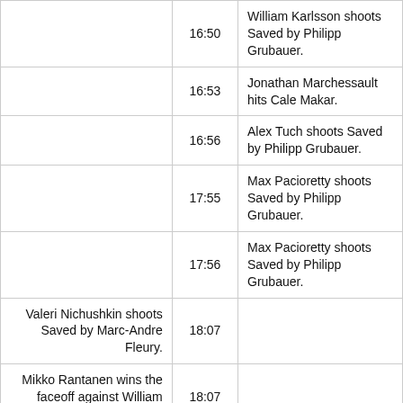| Home Team Event | Time | Away Team Event |
| --- | --- | --- |
|  | 16:50 | William Karlsson shoots Saved by Philipp Grubauer. |
|  | 16:53 | Jonathan Marchessault hits Cale Makar. |
|  | 16:56 | Alex Tuch shoots Saved by Philipp Grubauer. |
|  | 17:55 | Max Pacioretty shoots Saved by Philipp Grubauer. |
|  | 17:56 | Max Pacioretty shoots Saved by Philipp Grubauer. |
| Valeri Nichushkin shoots Saved by Marc-Andre Fleury. | 18:07 |  |
| Mikko Rantanen wins the faceoff against William Karlsson. | 18:07 |  |
|  | 18:15 | Shea Theodore blocks shot from Cale Makar. |